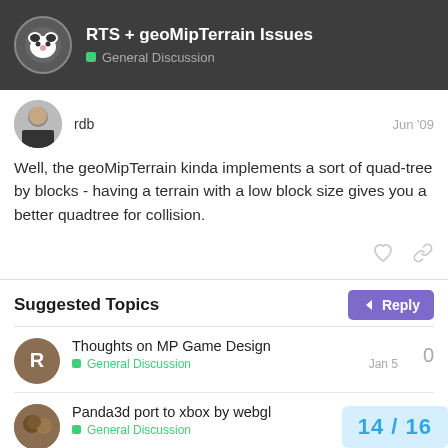RTS + geoMipTerrain Issues — General Discussion
rdb   Jun '09
Well, the geoMipTerrain kinda implements a sort of quad-tree by blocks - having a terrain with a low block size gives you a better quadtree for collision.
Suggested Topics
Thoughts on MP Game Design — General Discussion — Jan 5 — 0
Panda3d port to xbox by webgl — General Discussion — 0
Setting the environment(te...
14 / 16